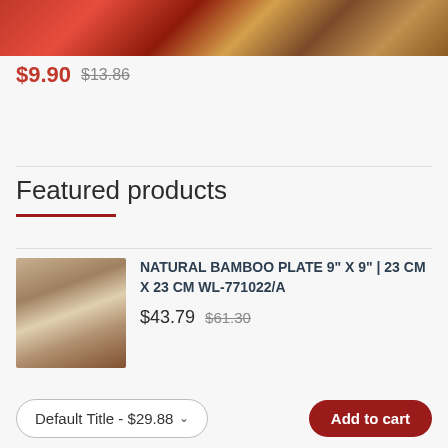[Figure (photo): Top portion of a product photo showing spices (star anise, cinnamon) with red ribbons on a wooden surface]
$9.90  $13.86
Featured products
[Figure (photo): Bamboo tray with coffee cup, cookies and baked goods]
NATURAL BAMBOO PLATE 9" X 9" | 23 CM X 23 CM WL-771022/A
$43.79  $61.30
[Figure (photo): Partial view of another bamboo product]
NATURAL BAMBOO OVAL
Default Title - $29.88
Add to cart